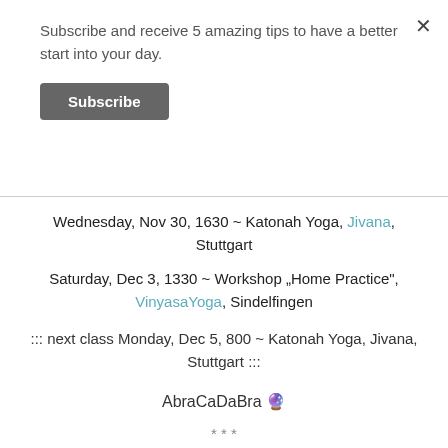Subscribe and receive 5 amazing tips to have a better start into your day.
Subscribe
Wednesday, Nov 30, 1630 ~ Katonah Yoga, Jivana, Stuttgart
Saturday, Dec 3, 1330 ~ Workshop „Home Practice", VinyasaYoga, Sindelfingen
::: next class Monday, Dec 5, 800 ~ Katonah Yoga, Jivana, Stuttgart :::
AbraCaDaBra 🔮
* * *